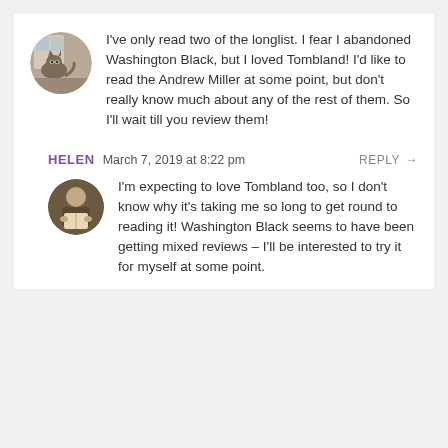[Figure (photo): Circular avatar image of a cat sitting near a window]
I've only read two of the longlist. I fear I abandoned Washington Black, but I loved Tombland! I'd like to read the Andrew Miller at some point, but don't really know much about any of the rest of them. So I'll wait till you review them!
HELEN   March 7, 2019 at 8:22 pm   REPLY →
[Figure (photo): Circular avatar image of a person reading a book]
I'm expecting to love Tombland too, so I don't know why it's taking me so long to get round to reading it! Washington Black seems to have been getting mixed reviews – I'll be interested to try it for myself at some point.